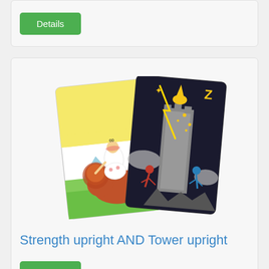[Figure (illustration): Green Details button inside a light gray card box at the top of the page]
[Figure (illustration): Two tarot cards: Strength upright (yellow background, woman with lion) and Tower upright (dark background, lightning striking tower with figures falling)]
Strength upright AND Tower upright
[Figure (illustration): Green Details button inside the middle card box below the tarot card title]
[Figure (illustration): Partial view of two more tarot cards at the bottom of the page, partially cropped]